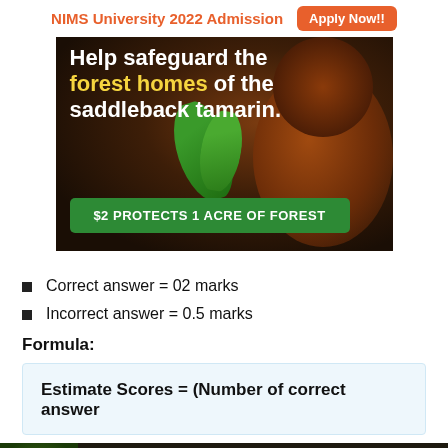NIMS University 2022 Admission  Apply Now!!
[Figure (photo): Hero image of a saddleback tamarin monkey in forest. Text overlay: 'Help safeguard the forest homes of the saddleback tamarin.' Green button: '$2 PROTECTS 1 ACRE OF FOREST']
Correct answer = 02 marks
Incorrect answer = 0.5 marks
Formula:
[Figure (photo): Bottom advertisement banner: 'Just $2 can protect 1 acre of irreplaceable forest homes in the Amazon. How many acres are you willing to protect?' with 'PROTECT FORESTS NOW' button.]